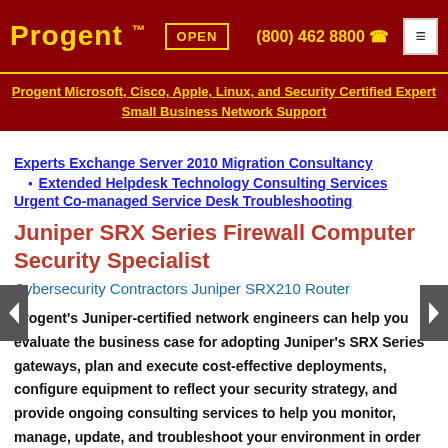Progent™ | OPEN | (800) 462 8800 | ☎
Progent Microsoft, Cisco, Apple, Linux, and Security Certified Expert Small Business Network Support
Experts Exchange Server 2010 Migration Consultancy
Extended Helpdesk Technology Consulting Services
Urgent Co-managed Service Desk Troubleshooting
Juniper SRX Series Firewall Computer Security Specialist
Cybersecurity Contractors Juniper SRX210 Router
Progent's Juniper-certified network engineers can help you evaluate the business case for adopting Juniper's SRX Series gateways, plan and execute cost-effective deployments, configure equipment to reflect your security strategy, and provide ongoing consulting services to help you monitor, manage, update, and troubleshoot your environment in order to maximize the business value of your SRX gateway solution.